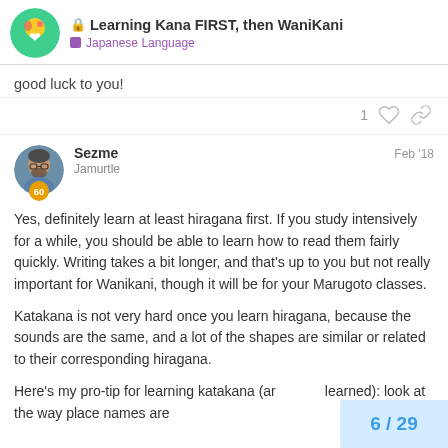Learning Kana FIRST, then WaniKani — Japanese Language
good luck to you!
Sezme  Feb '18
Jamurtle
Yes, definitely learn at least hiragana first. If you study intensively for a while, you should be able to learn how to read them fairly quickly. Writing takes a bit longer, and that's up to you but not really important for Wanikani, though it will be for your Marugoto classes.
Katakana is not very hard once you learn hiragana, because the sounds are the same, and a lot of the shapes are similar or related to their corresponding hiragana.
Here's my pro-tip for learning katakana (ar learned): look at the way place names are
6 / 29